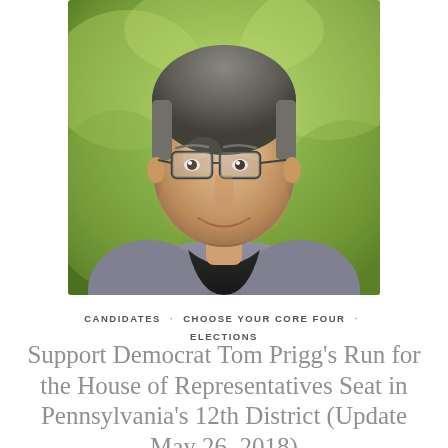[Figure (photo): Headshot of a man wearing glasses, a gray blazer, and a black v-neck shirt, smiling against a blurred green background]
CANDIDATES · CHOOSE YOUR CORE FOUR · ELECTIONS
Support Democrat Tom Prigg's Run for the House of Representatives Seat in Pennsylvania's 12th District (Update May 26, 2018)